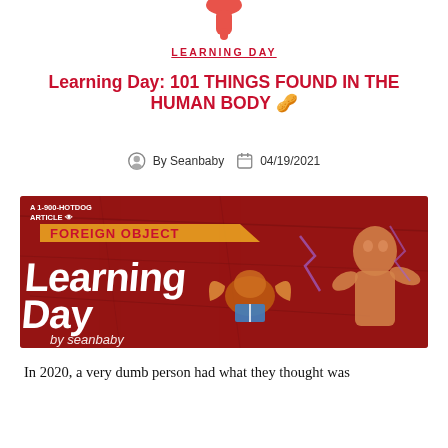[Figure (illustration): Partial view of a hand/finger pointing down, cropped at top of page]
LEARNING DAY
Learning Day: 101 THINGS FOUND IN THE HUMAN BODY 🥜
By Seanbaby   04/19/2021
[Figure (illustration): A 1-900-HOTDOG branded article banner reading 'FOREIGN OBJECT Learning Day by Seanbaby' with illustrated characters including a muscular figure and a creature reading a book, on a red distressed background]
In 2020, a very dumb person had what they thought was